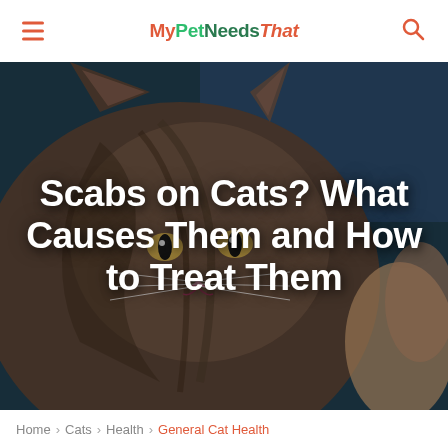MyPetNeedsThat
[Figure (photo): Close-up photo of a tabby cat being held by a person. The cat is looking at the camera with alert eyes. Background is blue/dark. Text overlay reads 'Scabs on Cats? What Causes Them and How to Treat Them'.]
Scabs on Cats? What Causes Them and How to Treat Them
Home > Cats > Health > General Cat Health